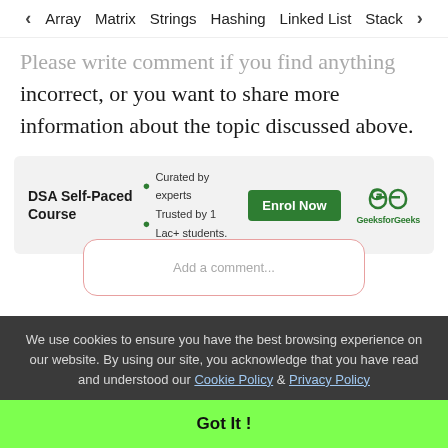< Array   Matrix   Strings   Hashing   Linked List   Stack >
Please write comment if you find anything incorrect, or you want to share more information about the topic discussed above.
[Figure (infographic): DSA Self-Paced Course advertisement banner with GeeksforGeeks logo, bullet points: Curated by experts, Trusted by 1 Lac+ students, and an Enrol Now button]
We use cookies to ensure you have the best browsing experience on our website. By using our site, you acknowledge that you have read and understood our Cookie Policy & Privacy Policy
Got It !